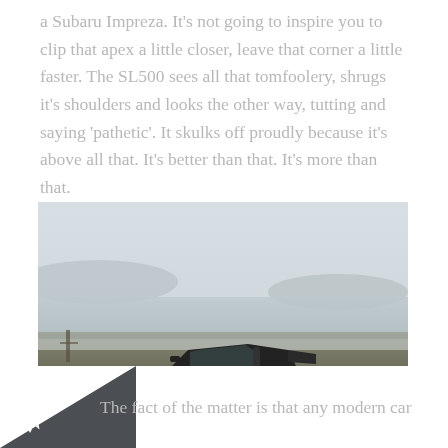a Subaru Impreza. It's not going to inspire you to clip that apex a little closer, leave that corner a little faster. The SL500 sees all that tomfoolery, shrugs it's shoulders and looks the other way, tutting and saying 'pathetic'. It skulks off proudly because it's above all that. It's better than that. It's more than that.
[Figure (photo): Side profile of a black Mercedes-Benz SL500 convertible (R129 generation) parked on a gravel area with a misty coastal or lakeside landscape in the background, showing hills and water in soft grey tones.]
The fact of the matter is that any modern car